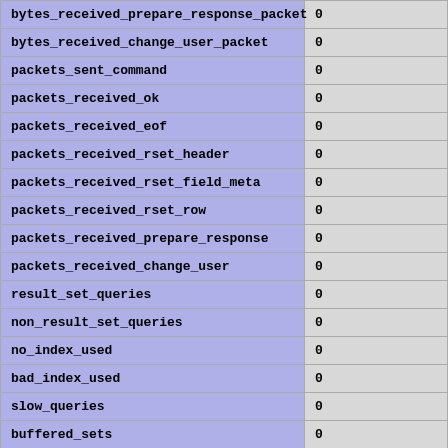| bytes_received_prepare_response_packet | 0 |
| bytes_received_change_user_packet | 0 |
| packets_sent_command | 0 |
| packets_received_ok | 0 |
| packets_received_eof | 0 |
| packets_received_rset_header | 0 |
| packets_received_rset_field_meta | 0 |
| packets_received_rset_row | 0 |
| packets_received_prepare_response | 0 |
| packets_received_change_user | 0 |
| result_set_queries | 0 |
| non_result_set_queries | 0 |
| no_index_used | 0 |
| bad_index_used | 0 |
| slow_queries | 0 |
| buffered_sets | 0 |
| unbuffered_sets | 0 |
| ps_buffered_sets | 0 |
| ps_unbuffered_sets | 0 |
| flushed_normal_sets | 0 |